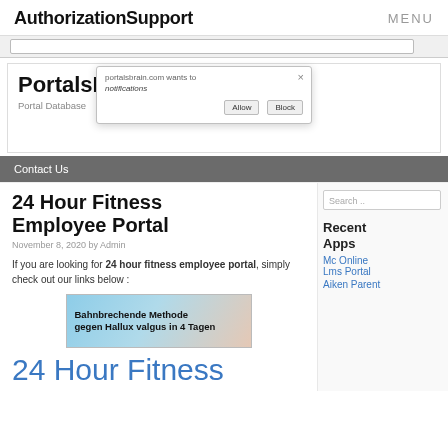AuthorizationSupport   MENU
[Figure (screenshot): PortalsBrain website header with browser notification popup overlay. Shows 'PortalsBrain' title, 'Portal Database' subtitle, and a popup from portalsbrain.com with Allow/Block buttons.]
Contact Us
24 Hour Fitness Employee Portal
November 8, 2020 by Admin
If you are looking for 24 hour fitness employee portal, simply check out our links below :
[Figure (illustration): Advertisement banner: Bahnbrechende Methode gegen Hallux valgus in 4 Tagen]
24 Hour Fitness
Search ..
Recent Apps
Mc Online Lms Portal
Aiken Parent